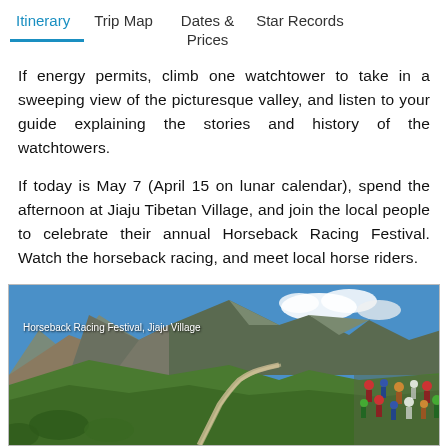Itinerary  Trip Map  Dates & Prices  Star Records
If energy permits, climb one watchtower to take in a sweeping view of the picturesque valley, and listen to your guide explaining the stories and history of the watchtowers.
If today is May 7 (April 15 on lunar calendar), spend the afternoon at Jiaju Tibetan Village, and join the local people to celebrate their annual Horseback Racing Festival. Watch the horseback racing, and meet local horse riders.
[Figure (photo): Mountain landscape with green hillsides, rocky cliffs, a winding path, blue sky with clouds, and a crowd of people on the right side. Caption reads: Horseback Racing Festival, Jiaju Village]